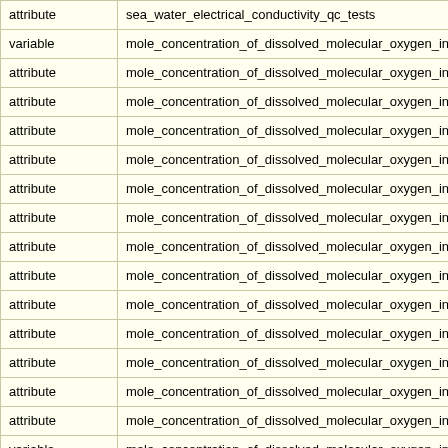| type | name |
| --- | --- |
| attribute | sea_water_electrical_conductivity_qc_tests |
| variable | mole_concentration_of_dissolved_molecular_oxygen_in_sea |
| attribute | mole_concentration_of_dissolved_molecular_oxygen_in_sea |
| attribute | mole_concentration_of_dissolved_molecular_oxygen_in_sea |
| attribute | mole_concentration_of_dissolved_molecular_oxygen_in_sea |
| attribute | mole_concentration_of_dissolved_molecular_oxygen_in_sea |
| attribute | mole_concentration_of_dissolved_molecular_oxygen_in_sea |
| attribute | mole_concentration_of_dissolved_molecular_oxygen_in_sea |
| attribute | mole_concentration_of_dissolved_molecular_oxygen_in_sea |
| attribute | mole_concentration_of_dissolved_molecular_oxygen_in_sea |
| attribute | mole_concentration_of_dissolved_molecular_oxygen_in_sea |
| attribute | mole_concentration_of_dissolved_molecular_oxygen_in_sea |
| attribute | mole_concentration_of_dissolved_molecular_oxygen_in_sea |
| attribute | mole_concentration_of_dissolved_molecular_oxygen_in_sea |
| attribute | mole_concentration_of_dissolved_molecular_oxygen_in_sea |
| variable | mole_concentration_of_dissolved_molecular_oxygen_in_sea |
| attribute | mole_concentration_of_dissolved_molecular_oxygen_in_sea |
| attribute | mole_concentration_of_dissolved_molecular_oxygen_in_sea |
| attribute | mole_concentration_of_dissolved_molecular_oxygen_in_sea |
| attribute | mole_concentration_of_dissolved_molecular_oxygen_in_sea |